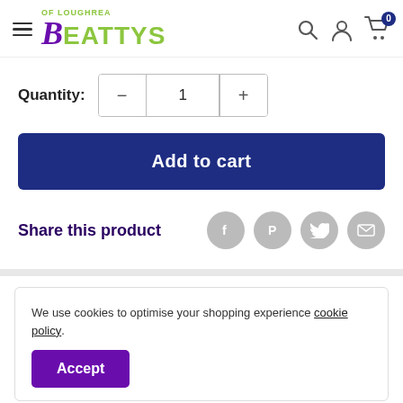Beattys of Loughrea — navigation header with logo, hamburger menu, search, account, and cart icons
Quantity: 1
Add to cart
Share this product
We use cookies to optimise your shopping experience cookie policy.
Accept
always the same dream: to fly to infinity. The Toy